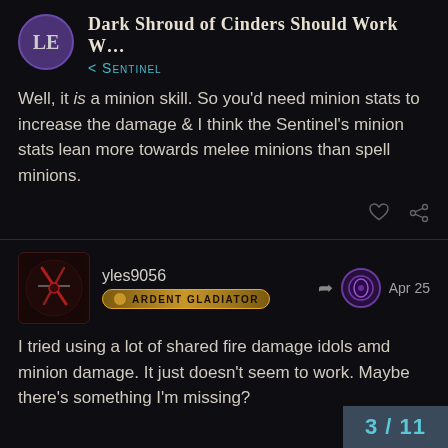Dark Shroud of Cinders Should Work W...
< Sentinel
Well, it is a minion skill. So you'd need minion stats to increase the damage & I think the Sentinel's minion stats lean more towards melee minions than spell minions.
yles9056
ARDENT GLADIATOR
Apr 25
I tried using a lot of shared fire damage idols amd minion damage. It just doesn't seem to work. Maybe there's something I'm missing?
Llama8
3/11